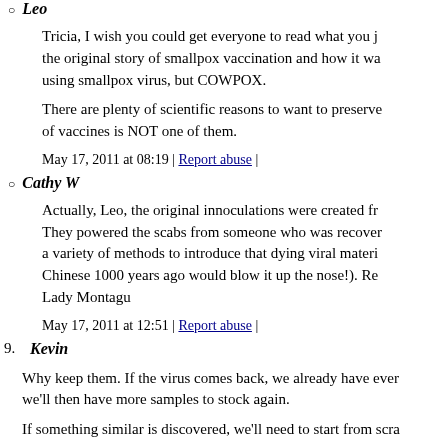Leo
Tricia, I wish you could get everyone to read what you j the original story of smallpox vaccination and how it wa using smallpox virus, but COWPOX.
There are plenty of scientific reasons to want to preserve of vaccines is NOT one of them.
May 17, 2011 at 08:19 | Report abuse |
Cathy W
Actually, Leo, the original innoculations were created fr They powered the scabs from someone who was recover a variety of methods to introduce that dying viral materi Chinese 1000 years ago would blow it up the nose!). Re Lady Montagu
May 17, 2011 at 12:51 | Report abuse |
9. Kevin
Why keep them. If the virus comes back, we already have ever we'll then have more samples to stock again.
If something similar is discovered, we'll need to start from scra
May 16, 2011 at 22:12 | Report abuse | Reply